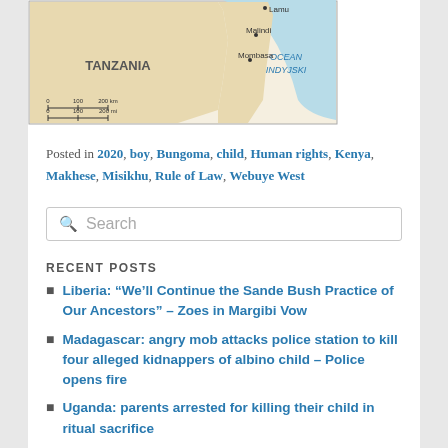[Figure (map): Map showing Tanzania, Kenya coast area with Indian Ocean (Ocean Indyjski), cities Lamu, Malindi, Mombasa labeled. Scale bar shown.]
Posted in 2020, boy, Bungoma, child, Human rights, Kenya, Makhese, Misikhu, Rule of Law, Webuye West
Search
RECENT POSTS
Liberia: “We’ll Continue the Sande Bush Practice of Our Ancestors” – Zoes in Margibi Vow
Madagascar: angry mob attacks police station to kill four alleged kidnappers of albino child – Police opens fire
Uganda: parents arrested for killing their child in ritual sacrifice
Nigeria: Edo Police Command uncovers ritualist’s den, 20 corpses in Benin City, Edo State